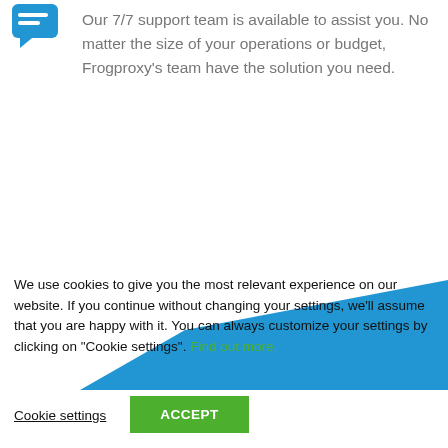[Figure (illustration): Blue chat/message icon at top left]
Our 7/7 support team is available to assist you. No matter the size of your operations or budget, Frogproxy's team have the solution you need.
[Figure (illustration): Large blue geometric trapezoid/ramp shape decorative element]
We use cookies to give you the most relevant experience on our website. If you continue without changing your settings, we'll assume that you are happy with it. You can always customize your settings by clicking on "Cookie settings". Find out more.
Cookie settings   ACCEPT